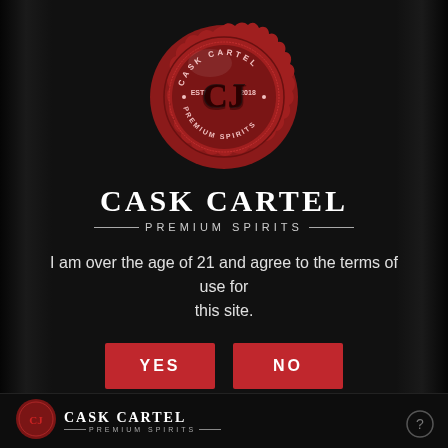[Figure (logo): Cask Cartel Premium Spirits red wax seal logo with interlocked CJ monogram, text reading CASK CARTEL ESTD 2018 PREMIUM SPIRITS around the seal]
CASK CARTEL
— PREMIUM SPIRITS —
I am over the age of 21 and agree to the terms of use for this site.
YES
NO
Please drink responsibly.
[Figure (logo): Small Cask Cartel wax seal logo in footer]
CASK CARTEL — PREMIUM SPIRITS —